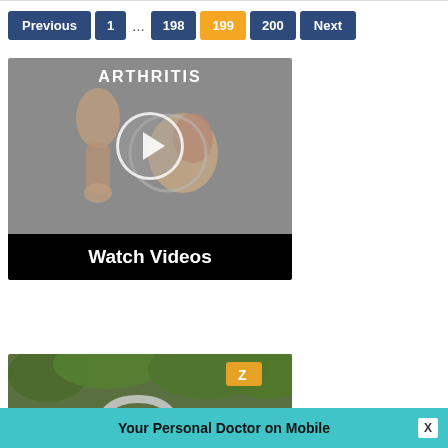[Figure (other): Pagination navigation bar with buttons: Previous, 1, ..., 198, 199 (active/highlighted in orange), 200, Next]
[Figure (screenshot): Arthritis video thumbnail showing knee joint illustration on gray background with 'ARTHRITIS' text at top, play button overlay, and 'Watch Videos' black bar at bottom]
[Figure (screenshot): Second video thumbnail showing outdoor scene with people and trees, green background, Zee logo visible]
Your Personal Doctor on Mobile
[Figure (other): X close button on footer bar]